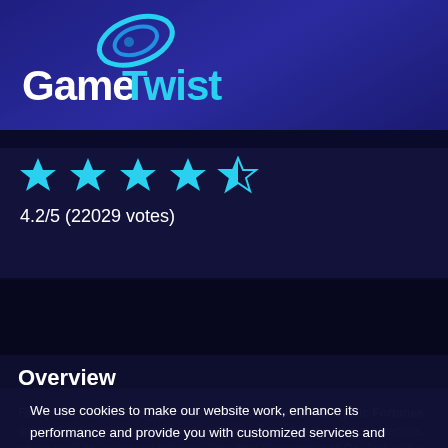[Figure (logo): GameTwist logo with tornado/swirl icon above white and cyan text]
4.2/5 (22029 votes)
Overview
Fancy a trip to ancient Egypt? Then check out Book of Ra Mystic Fortunes online. Get the reels spinning and we'll whisk you off to the land of pyramids, where you'll be welcomed by none other than the mighty god Ra. And, with a little luck on your side, he'll help you navigate the five reels and ten fixed win lines of this slot spectacle to fill your account with winnings. The key to finding
We use cookies to make our website work, enhance its performance and provide you with customized services and content. We also share information about your use of our website with our advertising partners. If you don't want to accept any optional cookies, you may close this banner. Alternatively, you can define your preferences via the cookie settings button. More information can be found in our
Cookie Policy